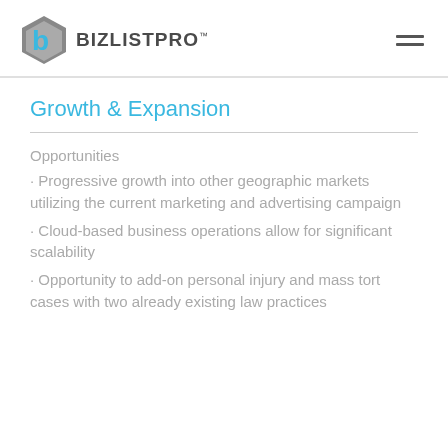BIZLISTPRO
Growth & Expansion
Opportunities
· Progressive growth into other geographic markets utilizing the current marketing and advertising campaign
· Cloud-based business operations allow for significant scalability
· Opportunity to add-on personal injury and mass tort cases with two already existing law practices